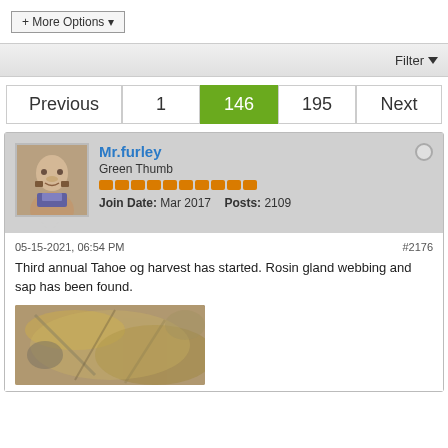+ More Options ▾
Filter ▾
Previous  1  146  195  Next
Mr.furley
Green Thumb
Join Date: Mar 2017  Posts: 2109
05-15-2021, 06:54 PM
#2176
Third annual Tahoe og harvest has started. Rosin gland webbing and sap has been found.
[Figure (photo): Close-up blurry photo of plant material, likely cannabis trichomes/buds]